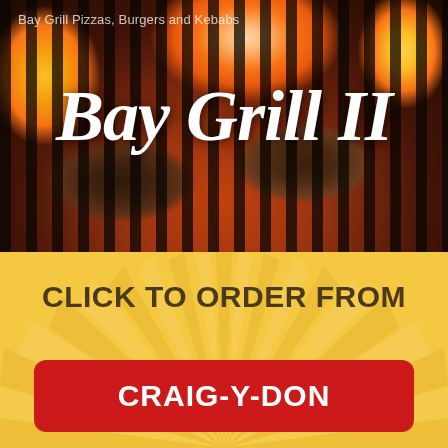[Figure (photo): Burger patties cooking on a grill with flames visible, dark grill bars across the image]
Bay Grill Pizzas, Burgers and Kebabs
Bay Grill II
CLICK TO ORDER FROM
CRAIG-Y-DON